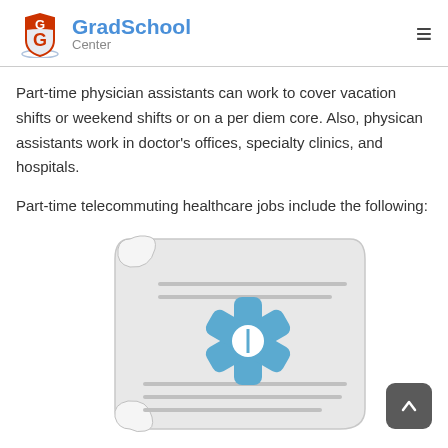GradSchool Center
Part-time physician assistants can work to cover vacation shifts or weekend shifts or on a per diem core. Also, physican assistants work in doctor's offices, specialty clinics, and hospitals.
Part-time telecommuting healthcare jobs include the following:
[Figure (illustration): A curled/scroll-shaped document illustration with a blue medical star of life symbol in the center, with horizontal lines suggesting text content.]